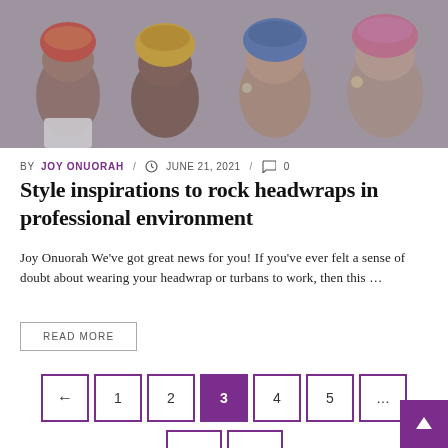[Figure (photo): Four women wearing colorful African headwraps/turbans, posed together, muted grey-toned photo]
BY JOY ONUORAH / JUNE 21, 2021 / 0
Style inspirations to rock headwraps in professional environment
Joy Onuorah We've got great news for you! If you've ever felt a sense of doubt about wearing your headwrap or turbans to work, then this …
READ MORE
← 1 2 3 4 5 … 18 →